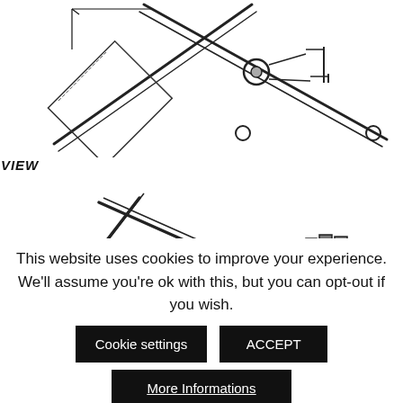[Figure (engineering-diagram): Top view of a mechanical cross/X-shaped linkage assembly with cylindrical rods and a central joint mechanism, with dimension lines.]
SIDE VIEW
[Figure (engineering-diagram): Side view of a mechanical scissor/X-linkage assembly with horizontal base rod, cross members, and chain drive input mechanism on the right. Label 'INPUT' visible on right side.]
This website uses cookies to improve your experience. We'll assume you're ok with this, but you can opt-out if you wish.
Cookie settings
ACCEPT
More Informations